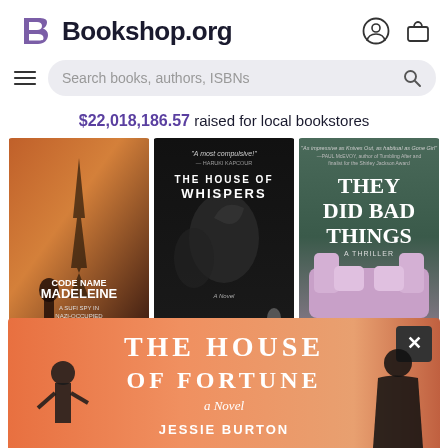[Figure (logo): Bookshop.org logo with stylized B icon in purple and bold black text]
[Figure (screenshot): Search bar with hamburger menu, placeholder text 'Search books, authors, ISBNs', and search icon]
$22,018,186.57 raised for local bookstores
[Figure (photo): Book cover: Code Name Madeleine - A Sufi Spy in Nazi-Occupied Paris by Arthur J. Magida. Shows Eiffel Tower in reddish haze with figure in foreground.]
[Figure (photo): Book cover: The House of Whispers by Laura Purcell. Dark cover with bird imagery.]
[Figure (photo): Book cover: They Did Bad Things - A Thriller by Lauren A. Forry. Shows pink sofa with text.]
[Figure (photo): Popup book cover banner: The House of Fortune - A Novel by Jessie Burton. Coral/pink background with silhouettes.]